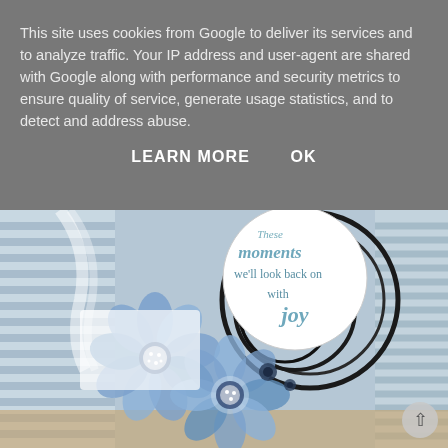This site uses cookies from Google to deliver its services and to analyze traffic. Your IP address and user-agent are shared with Google along with performance and security metrics to ensure quality of service, generate usage statistics, and to detect and address abuse.
LEARN MORE    OK
[Figure (photo): A handmade greeting card with blue watercolor flowers (anemones) and a circular tag reading 'These moments we'll look back on with joy' in script lettering, arranged on a striped blue background with black spiral embellishments and sheer ribbon.]